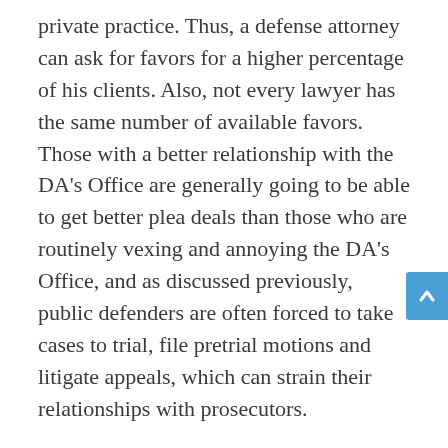private practice. Thus, a defense attorney can ask for favors for a higher percentage of his clients. Also, not every lawyer has the same number of available favors. Those with a better relationship with the DA's Office are generally going to be able to get better plea deals than those who are routinely vexing and annoying the DA's Office, and as discussed previously, public defenders are often forced to take cases to trial, file pretrial motions and litigate appeals, which can strain their relationships with prosecutors.
Now that I am in private practice, I get plea agreements, which I never would have gotten as a public defender. The simple reasons are that I am no longer in a constant state of war with police and prosecutors and I now represent a lot more clients with strong mitigating factors and far fewer aggravating factors related to both the facts of their cases and who they are as people. That being said, not all